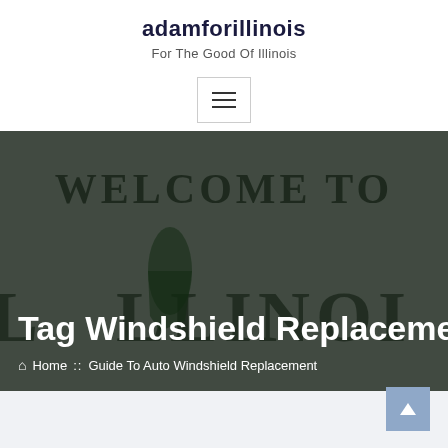adamforillinois
For The Good Of Illinois
[Figure (screenshot): Hamburger/navigation menu button with three horizontal lines]
[Figure (photo): Welcome to Illinois sign in background, dark grey/green tones, partially visible text WELCOME TO and ILLINOIS with Illinois state silhouette]
Tag Windshield Replacement
Home :: Guide To Auto Windshield Replacement